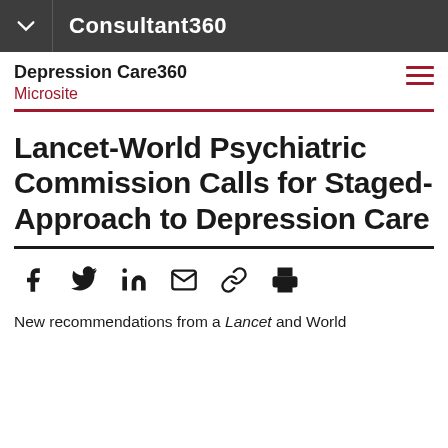Consultant360
Depression Care360
Microsite
Lancet-World Psychiatric Commission Calls for Staged-Approach to Depression Care
New recommendations from a Lancet and World